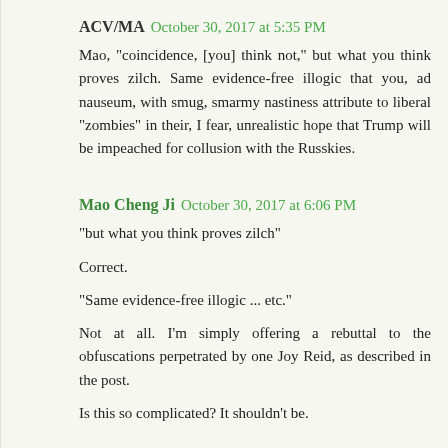ACV/MA  October 30, 2017 at 5:35 PM
Mao, "coincidence, [you] think not," but what you think proves zilch. Same evidence-free illogic that you, ad nauseum, with smug, smarmy nastiness attribute to liberal "zombies" in their, I fear, unrealistic hope that Trump will be impeached for collusion with the Russkies.
Mao Cheng Ji  October 30, 2017 at 6:06 PM
"but what you think proves zilch"
Correct.
"Same evidence-free illogic ... etc."
Not at all. I'm simply offering a rebuttal to the obfuscations perpetrated by one Joy Reid, as described in the post.
Is this so complicated? It shouldn't be.